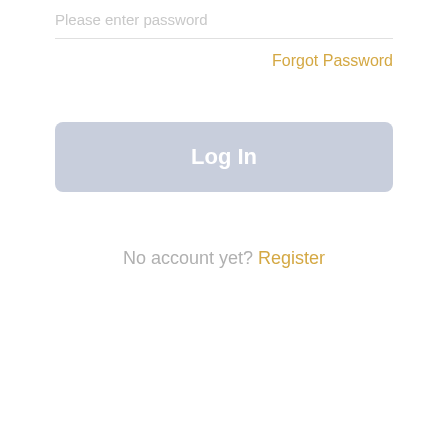Please enter password
Forgot Password
Log In
No account yet? Register